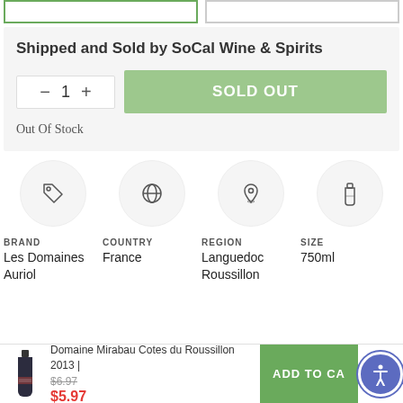Shipped and Sold by SoCal Wine & Spirits
SOLD OUT
Out Of Stock
[Figure (illustration): Four circular icons: price tag, globe, location pin, wine bottle representing Brand, Country, Region, Size]
BRAND
Les Domaines Auriol
COUNTRY
France
REGION
Languedoc Roussillon
Size
750ml
Domaine Mirabau Cotes du Roussillon 2013 | $6.97 $5.97 ADD TO CART